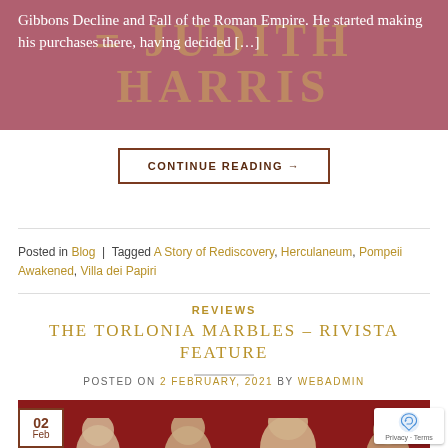Gibbons Decline and Fall of the Roman Empire. He started making his purchases there, having decided [...]
CONTINUE READING →
Posted in Blog | Tagged A Story of Rediscovery, Herculaneum, Pompeii Awakened, Villa dei Papiri
REVIEWS
THE TORLONIA MARBLES – RIVISTA FEATURE
POSTED ON 2 FEBRUARY, 2021 BY WEBADMIN
[Figure (photo): Magazine cover of RIVISTA showing marble busts of Roman emperors against a dark red background, with a date badge showing 02 Feb]